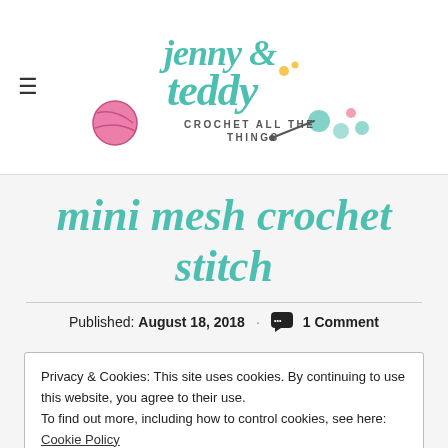jenny & teddy – crochet all the things
mini mesh crochet stitch
Published: August 18, 2018 · 1 Comment
Privacy & Cookies: This site uses cookies. By continuing to use this website, you agree to their use.
To find out more, including how to control cookies, see here: Cookie Policy
Close and accept
[Figure (photo): Pink crochet yarn/work, cropped at bottom of page]